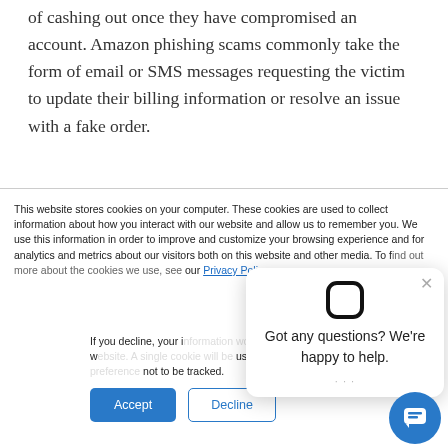of cashing out once they have compromised an account. Amazon phishing scams commonly take the form of email or SMS messages requesting the victim to update their billing information or resolve an issue with a fake order.
This website stores cookies on your computer. These cookies are used to collect information about how you interact with our website and allow us to remember you. We use this information in order to improve and customize your browsing experience and for analytics and metrics about our visitors both on this website and other media. To find out more about the cookies we use, see our Privacy Policy.
If you decline, your information won't be tracked when you visit this website. A single cookie will be used in your browser to remember your preference not to be tracked.
[Figure (screenshot): Cookie consent banner with Accept and Decline buttons, and a chat popup overlay with message 'Got any questions? We're happy to help.' and a blue chat bubble button in the bottom right corner.]